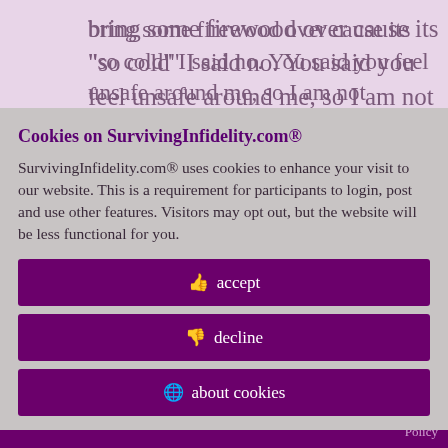bring some firewood over cause its "so cold" I said no. You said you feel unsafe around me, so I am not
n't trust her.
; me dump my
ch baggage I
t. I think if it
otten
you have sex
y house that's
n MY DOOR!!!
is works out in
ot even talk to
Cookies on SurvivingInfidelity.com®
SurvivingInfidelity.com® uses cookies to enhance your visit to our website. This is a requirement for participants to login, post and use other features. Visitors may opt out, but the website will be less functional for you.
accept
decline
about cookies
Policy